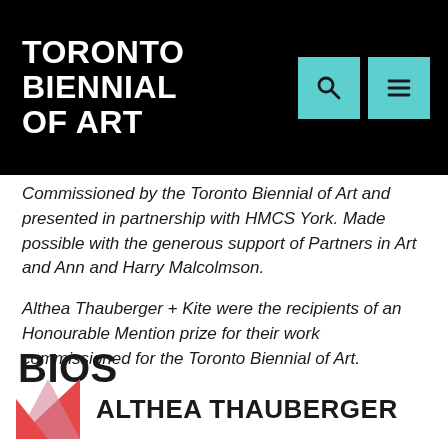TORONTO BIENNIAL OF ART
Commissioned by the Toronto Biennial of Art and presented in partnership with HMCS York. Made possible with the generous support of Partners in Art and Ann and Harry Malcolmson.
Althea Thauberger + Kite were the recipients of an Honourable Mention prize for their work commissioned for the Toronto Biennial of Art.
BIOS
ALTHEA THAUBERGER